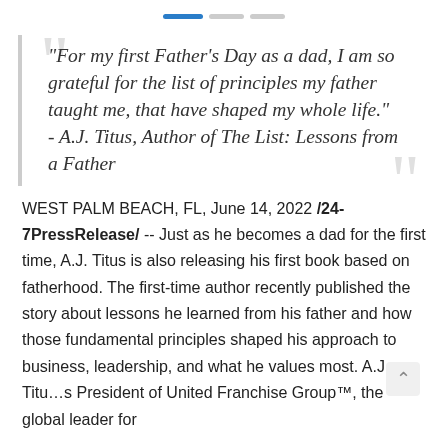[Figure (other): Progress bar with three segments: one blue (active), two grey (inactive)]
"For my first Father's Day as a dad, I am so grateful for the list of principles my father taught me, that have shaped my whole life." - A.J. Titus, Author of The List: Lessons from a Father
WEST PALM BEACH, FL, June 14, 2022 /24-7PressRelease/ -- Just as he becomes a dad for the first time, A.J. Titus is also releasing his first book based on fatherhood. The first-time author recently published the story about lessons he learned from his father and how those fundamental principles shaped his approach to business, leadership, and what he values most. A.J. Titus is President of United Franchise Group™, the global leader for